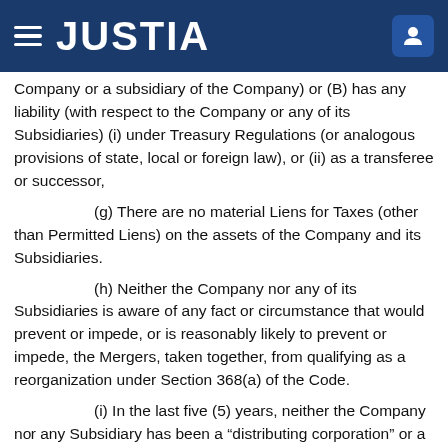JUSTIA
Company or a subsidiary of the Company) or (B) has any liability (with respect to the Company or any of its Subsidiaries) (i) under Treasury Regulations (or analogous provisions of state, local or foreign law), or (ii) as a transferee or successor,
(g) There are no material Liens for Taxes (other than Permitted Liens) on the assets of the Company and its Subsidiaries.
(h) Neither the Company nor any of its Subsidiaries is aware of any fact or circumstance that would prevent or impede, or is reasonably likely to prevent or impede, the Mergers, taken together, from qualifying as a reorganization under Section 368(a) of the Code.
(i) In the last five (5) years, neither the Company nor any Subsidiary has been a "distributing corporation" or a "controlled corporation" in a distribution to which Section 355 of the Code (or so much of Section 356 of the Code as relates to Section 355) was intended to apply.
(i) The Company made a valid election under Par